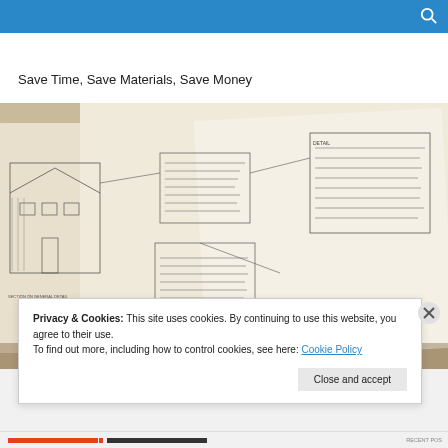Save Time, Save Materials, Save Money
[Figure (photo): Blueprint/architectural drawing spread on a desk viewed at an angle, showing technical plans with annotations and diagrams including a building elevation sketch]
Privacy & Cookies: This site uses cookies. By continuing to use this website, you agree to their use.
To find out more, including how to control cookies, see here: Cookie Policy
Close and accept